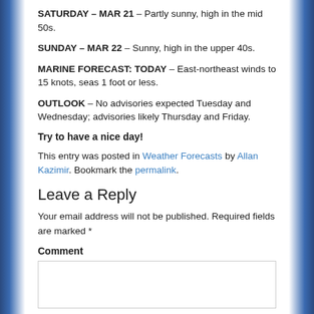SATURDAY – MAR 21 – Partly sunny, high in the mid 50s.
SUNDAY – MAR 22 – Sunny, high in the upper 40s.
MARINE FORECAST: TODAY – East-northeast winds to 15 knots, seas 1 foot or less.
OUTLOOK – No advisories expected Tuesday and Wednesday; advisories likely Thursday and Friday.
Try to have a nice day!
This entry was posted in Weather Forecasts by Allan Kazimir. Bookmark the permalink.
Leave a Reply
Your email address will not be published. Required fields are marked *
Comment